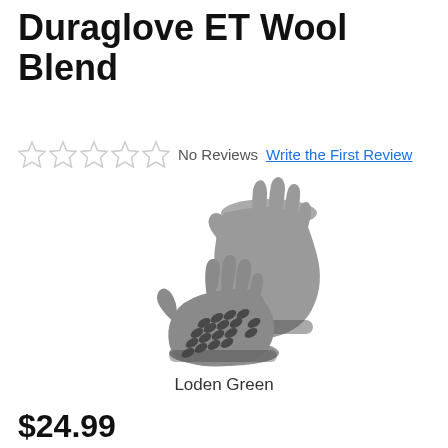Duraglove ET Wool Blend
No Reviews  Write the First Review
[Figure (photo): Two gray wool blend gloves (Duraglove ET), one showing the palm with black grip pattern and one showing the back, in Loden Green color]
Loden Green
$24.99